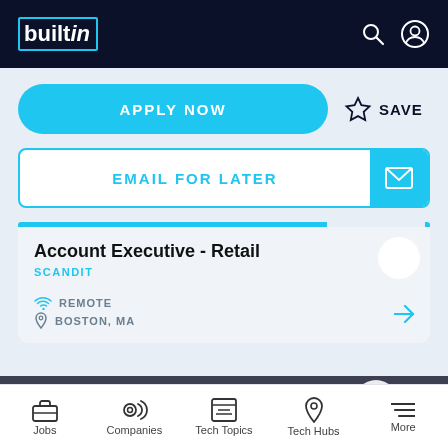builtin
APPLY NOW
SAVE
EMAIL FOR LATER
Account Executive - Retail
SCANDIT
REMOTE
BOSTON, MA
OPERATIONS
Jobs   Companies   Tech Topics   Tech Hubs   More